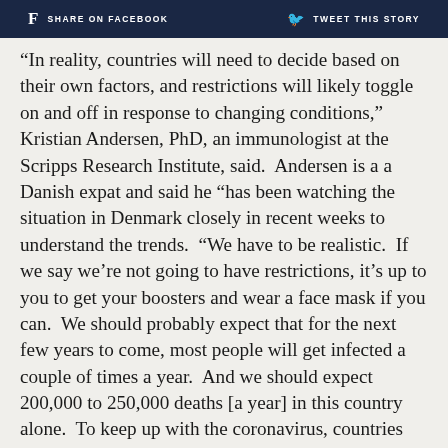SHARE ON FACEBOOK   TWEET THIS STORY
“In reality, countries will need to decide based on their own factors, and restrictions will likely toggle on and off in response to changing conditions,” Kristian Andersen, PhD, an immunologist at the Scripps Research Institute, said.  Andersen is a a Danish expat and said he “has been watching the situation in Denmark closely in recent weeks to understand the trends.  “We have to be realistic.  If we say we’re not going to have restrictions, it’s up to you to get your boosters and wear a face mask if you can.  We should probably expect that for the next few years to come, most people will get infected a couple of times a year.  And we should expect 200,000 to 250,000 deaths [a year] in this country alone.  To keep up with the coronavirus, countries will also need to prioritize innovation, namely with better home testing, better masks, better vaccines, better antivirals.  But it also requires that we realize [COVID] is going to be a problem we’re going to continue to deal with during the next 5 to